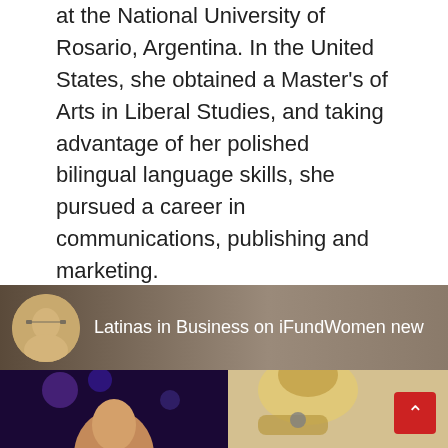at the National University of Rosario, Argentina. In the United States, she obtained a Master's of Arts in Liberal Studies, and taking advantage of her polished bilingual language skills, she pursued a career in communications, publishing and marketing.
Follow me: @sbaumann342   @LIBizus LatinasInBusiness.us   LinkedIn
[Figure (screenshot): Social media profile banner showing 'Latinas in Business on iFundWomen new' with a circular avatar photo of a woman with glasses and blonde hair, on a dark background.]
[Figure (photo): Two thumbnail photos side by side: left shows a person with red hair at a dark event with purple bokeh lights; right shows a blonde woman with glasses holding something, with a red scroll-to-top button overlay.]